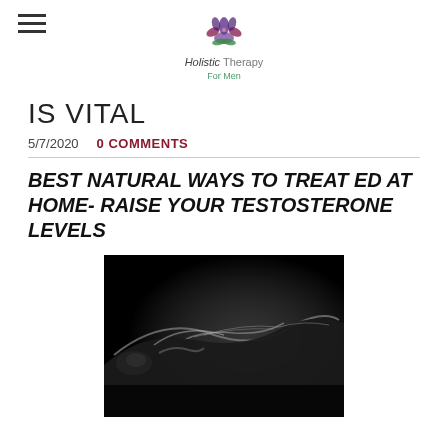Holistic Therapy For Men
IS VITAL
5/7/2020   0 COMMENTS
BEST NATURAL WAYS TO TREAT ED AT HOME- RAISE YOUR TESTOSTERONE LEVELS
[Figure (photo): Dark artistic black and white photograph of a person lying down, silhouetted against a black background with dramatic lighting highlighting body curves.]